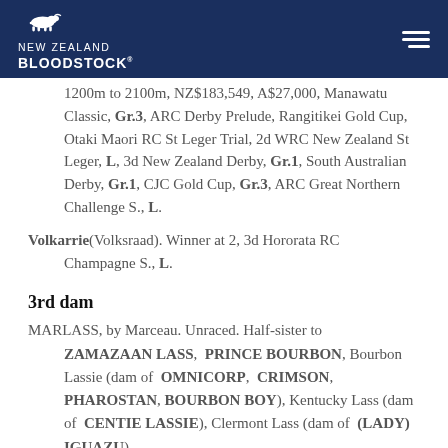New Zealand Bloodstock
1200m to 2100m, NZ$183,549, A$27,000, Manawatu Classic, Gr.3, ARC Derby Prelude, Rangitikei Gold Cup, Otaki Maori RC St Leger Trial, 2d WRC New Zealand St Leger, L, 3d New Zealand Derby, Gr.1, South Australian Derby, Gr.1, CJC Gold Cup, Gr.3, ARC Great Northern Challenge S., L.
Volkarrie(Volksraad). Winner at 2, 3d Hororata RC Champagne S., L.
3rd dam
MARLASS, by Marceau. Unraced. Half-sister to ZAMAZAAN LASS, PRINCE BOURBON, Bourbon Lassie (dam of OMNICORP, CRIMSON, PHAROSTAN, BOURBON BOY), Kentucky Lass (dam of CENTIE LASSIE), Clermont Lass (dam of (LADY) IGUAZU). Dam of 9 named foals, 8 to race, 5 winners, inc:-